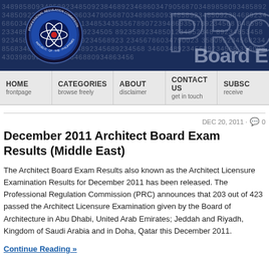[Figure (logo): PRC (Professional Regulation Commission) website header banner with logo, number background pattern, and partial 'PRC Board' text]
HOME frontpage | CATEGORIES browse freely | ABOUT disclaimer | CONTACT US get in touch | SUBSC receive
DEC 20, 2011 · 💬 0
December 2011 Architect Board Exam Results (Middle East)
The Architect Board Exam Results also known as the Architect Licensure Examination Results for December 2011 has been released. The Professional Regulation Commission (PRC) announces that 203 out of 423 passed the Architect Licensure Examination given by the Board of Architecture in Abu Dhabi, United Arab Emirates; Jeddah and Riyadh, Kingdom of Saudi Arabia and in Doha, Qatar this December 2011.
Continue Reading »